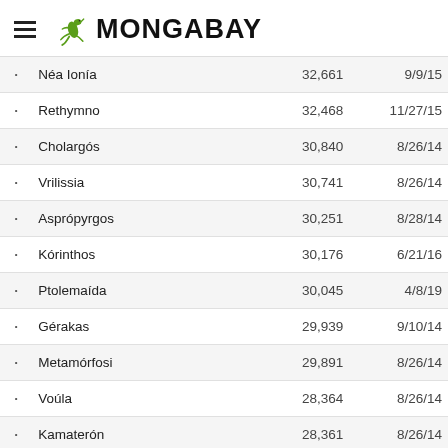MONGABAY
|  | City | Population | Date |
| --- | --- | --- | --- |
| • | Néa Ionía | 32,661 | 9/9/15 |
| • | Rethymno | 32,468 | 11/27/15 |
| • | Cholargós | 30,840 | 8/26/14 |
| • | Vrilissia | 30,741 | 8/26/14 |
| • | Asprópyrgos | 30,251 | 8/28/14 |
| • | Kórinthos | 30,176 | 6/21/16 |
| • | Ptolemaída | 30,045 | 4/8/19 |
| • | Gérakas | 29,939 | 9/10/14 |
| • | Metamórfosi | 29,891 | 8/26/14 |
| • | Voúla | 28,364 | 8/26/14 |
| • | Kamaterón | 28,361 | 8/26/14 |
| • | Mytilene | 28,322 | 12/19/16 |